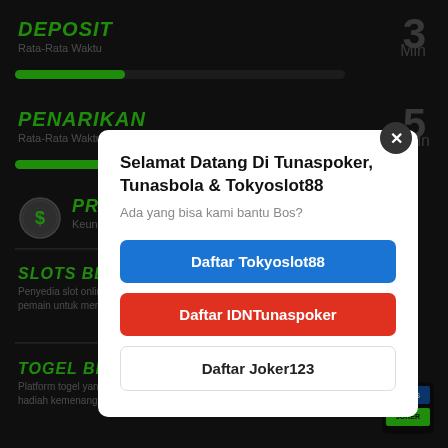DEPOSIT
Rata-Rata Waktu
3 Min
[Figure (infographic): Green progress bar showing deposit time, about 1/3 filled]
PENARIKAN
Rata-Rata Waktu
5 Min
[Figure (infographic): Green progress bar showing penarikan time, about 2/3 filled]
[Figure (logo): Chip/coin icon]
PRODUK
Keunggulan Produ…
SLOTS BETTING
Penyedia slot online dengan be… pemain untuk mencapai jackpot
TOGEL BETTING
Platform togel yang menarik dar… hadiah kemenangan besar
Selamat Datang Di Tunaspoker, Tunasbola & Tokyoslot88
Ada yang bisa kami bantu Bos?
Daftar Tokyoslot88
Daftar IDNTunaspoker
Daftar Joker123